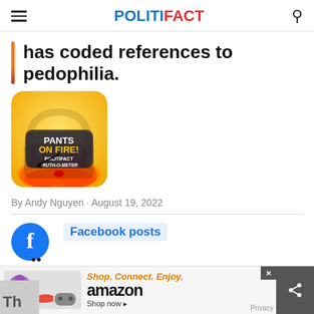POLITIFACT
has coded references to pedophilia.
[Figure (illustration): Pants on Fire! PolitiFact Truth-O-Meter rating image with flames]
By Andy Nguyen · August 19, 2022
[Figure (logo): Facebook logo circle icon with quote marks]
Facebook posts stated on August 7, 2022 in a Facebook p...